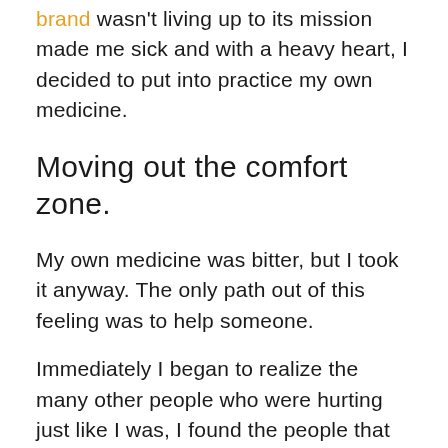brand wasn't living up to its mission made me sick and with a heavy heart, I decided to put into practice my own medicine.
Moving out the comfort zone.
My own medicine was bitter, but I took it anyway. The only path out of this feeling was to help someone.
Immediately I began to realize the many other people who were hurting just like I was, I found the people that needed to be inspired, and in that moment I learned that it isn't always about you, a concept so simple yet